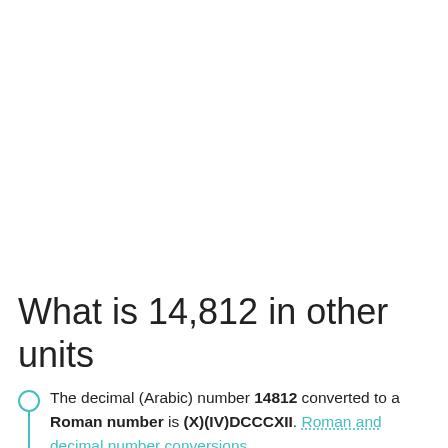What is 14,812 in other units
The decimal (Arabic) number 14812 converted to a Roman number is (X)(IV)DCCCXII. Roman and decimal number conversions.
Weight conversion